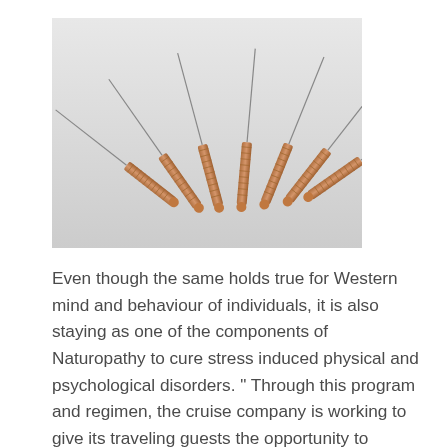[Figure (photo): Seven acupuncture needles with copper-colored handles arranged in a fan shape against a light gray background.]
Even though the same holds true for Western mind and behaviour of individuals, it is also staying as one of the components of Naturopathy to cure stress induced physical and psychological disorders. " Through this program and regimen, the cruise company is working to give its traveling guests the opportunity to recover the balance between “the physical, emotional and spiritual. Recently, these therapists have started using color with acupuncture called color puncture to treat emotional